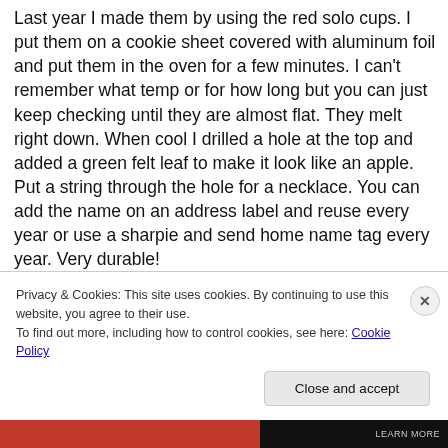Last year I made them by using the red solo cups. I put them on a cookie sheet covered with aluminum foil and put them in the oven for a few minutes. I can't remember what temp or for how long but you can just keep checking until they are almost flat. They melt right down. When cool I drilled a hole at the top and added a green felt leaf to make it look like an apple. Put a string through the hole for a necklace. You can add the name on an address label and reuse every year or use a sharpie and send home name tag every year. Very durable!
Carol Toney Johnson
Privacy & Cookies: This site uses cookies. By continuing to use this website, you agree to their use. To find out more, including how to control cookies, see here: Cookie Policy
Close and accept